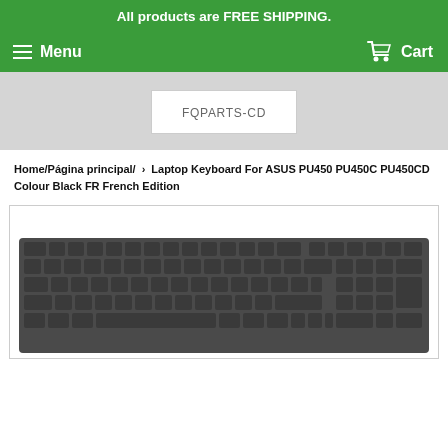All products are FREE SHIPPING.
Menu   Cart
[Figure (logo): FQPARTS-CD store logo, white rectangle with text FQPARTS-CD]
Home/Página principal/ › Laptop Keyboard For ASUS PU450 PU450C PU450CD Colour Black FR French Edition
[Figure (photo): Photo of a black laptop keyboard for ASUS PU450/PU450C/PU450CD French Edition]